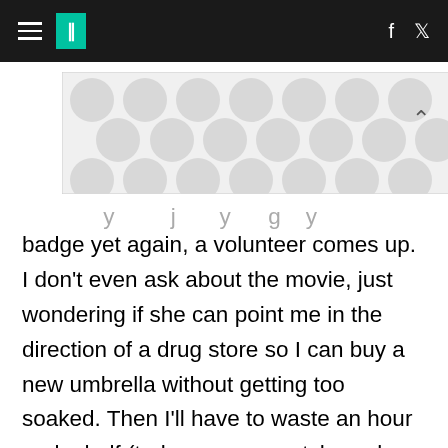HuffPost navigation with hamburger menu, logo, Facebook and Twitter icons
[Figure (other): Advertisement banner with grey polka dot pattern]
badge yet again, a volunteer comes up. I don't even ask about the movie, just wondering if she can point me in the direction of a drug store so I can buy a new umbrella without getting too soaked. Then I'll have to waste an hour and a half (today was my catch up day on writing) doing a round trip to get my badge. She asks what movie I was there to see, and I share my woes. She knew by my frantic nature what had happened. When I said, "Oh, so I'm not the only idiot. People forget their badge every day?" Uh, no, almost no one has forgotten their badge; she